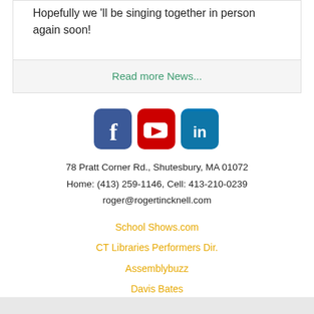Hopefully we 'll be singing together in person again soon!
Read more News...
[Figure (other): Social media icons: Facebook (blue), YouTube (red), LinkedIn (blue)]
78 Pratt Corner Rd., Shutesbury, MA 01072
Home: (413) 259-1146, Cell: 413-210-0239
roger@rogertincknell.com
School Shows.com
CT Libraries Performers Dir.
Assemblybuzz
Davis Bates